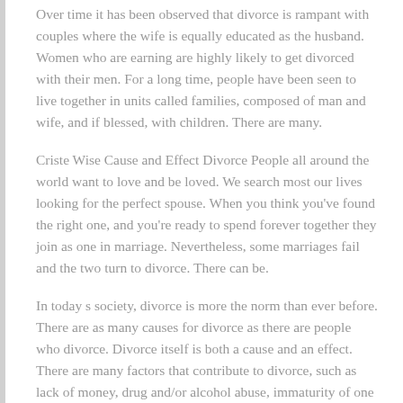Over time it has been observed that divorce is rampant with couples where the wife is equally educated as the husband. Women who are earning are highly likely to get divorced with their men. For a long time, people have been seen to live together in units called families, composed of man and wife, and if blessed, with children. There are many.
Criste Wise Cause and Effect Divorce People all around the world want to love and be loved. We search most our lives looking for the perfect spouse. When you think you've found the right one, and you're ready to spend forever together they join as one in marriage. Nevertheless, some marriages fail and the two turn to divorce. There can be.
In today s society, divorce is more the norm than ever before. There are as many causes for divorce as there are people who divorce. Divorce itself is both a cause and an effect. There are many factors that contribute to divorce, such as lack of money, drug and/or alcohol abuse, immaturity of one or both parties, sexual indiscretion, the ease of.